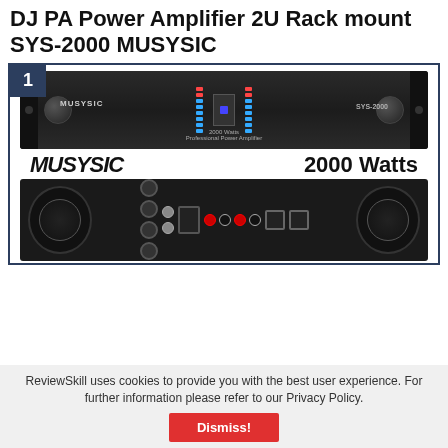DJ PA Power Amplifier 2U Rack mount SYS-2000 MUSYSIC
[Figure (photo): MUSYSIC SYS-2000 professional power amplifier, showing front panel with rack ears, two knobs, VU meter LEDs, and 'MUSYSIC 2000 Watts' branding text, plus rear panel showing cooling fans, XLR inputs, speaker outputs, and power connector.]
ReviewSkill uses cookies to provide you with the best user experience. For further information please refer to our Privacy Policy.
Dismiss!